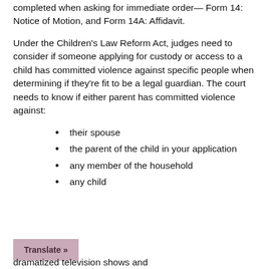completed when asking for immediate order— Form 14: Notice of Motion, and Form 14A: Affidavit.
Under the Children's Law Reform Act, judges need to consider if someone applying for custody or access to a child has committed violence against specific people when determining if they're fit to be a legal guardian. The court needs to know if either parent has committed violence against:
their spouse
the parent of the child in your application
any member of the household
any child
Translate »
dramatized television shows and